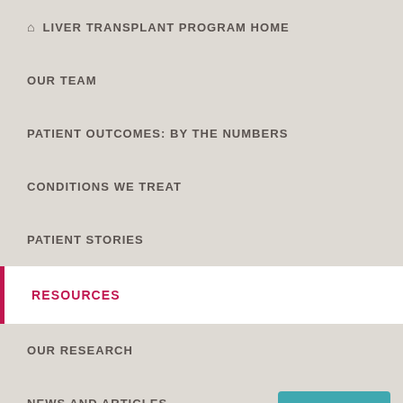🏠 LIVER TRANSPLANT PROGRAM HOME
OUR TEAM
PATIENT OUTCOMES: BY THE NUMBERS
CONDITIONS WE TREAT
PATIENT STORIES
RESOURCES
OUR RESEARCH
NEWS AND ARTICLES